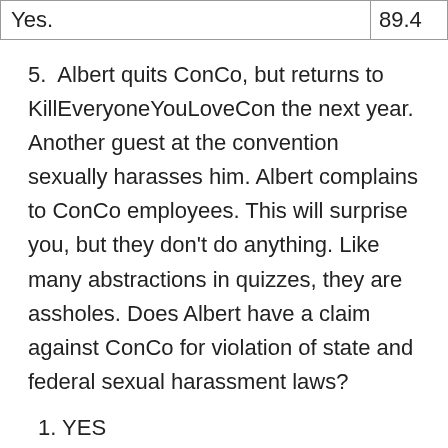| Yes. | 89.4 |
5.  Albert quits ConCo, but returns to KillEveryoneYouLoveCon the next year. Another guest at the convention sexually harasses him. Albert complains to ConCo employees. This will surprise you, but they don't do anything. Like many abstractions in quizzes, they are assholes. Does Albert have a claim against ConCo for violation of state and federal sexual harassment laws?
1. YES
2. NO